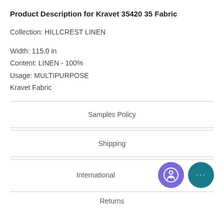Product Description for Kravet 35420 35 Fabric
Collection: HILLCREST LINEN
Width: 115.0 in
Content: LINEN - 100%
Usage: MULTIPURPOSE
Kravet Fabric
Samples Policy
Shipping
International
Returns